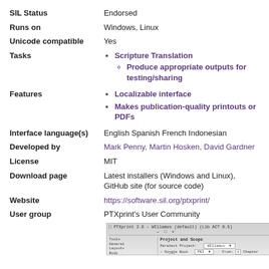| SIL Status | Endorsed |
| Runs on | Windows, Linux |
| Unicode compatible | Yes |
| Tasks | • Scripture Translation
  ◦ Produce appropriate outputs for testing/sharing |
| Features | • Localizable interface
• Makes publication-quality printouts or PDFs |
| Interface language(s) | English Spanish French Indonesian |
| Developed by | Mark Penny, Martin Hosken, David Gardner |
| License | MIT |
| Download page | Latest installers (Windows and Linux), GitHub site (for source code) |
| Website | https://software.sil.org/ptxprint/ |
| User group | PTXprint's User Community |
[Figure (screenshot): Screenshot of PTXprint application window showing Project and Scope settings panel]